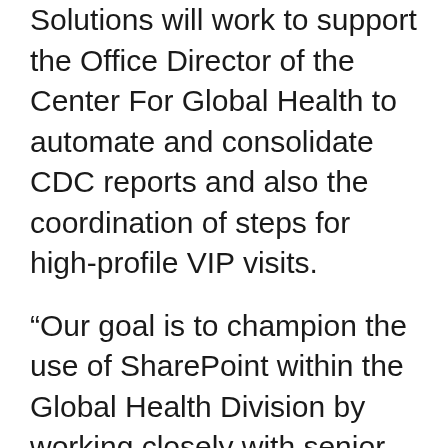Solutions will work to support the Office Director of the Center For Global Health to automate and consolidate CDC reports and also the coordination of steps for high-profile VIP visits.
“Our goal is to champion the use of SharePoint within the Global Health Division by working closely with senior SharePoint developers, government project managers, technical leads, business analysts and subject matter